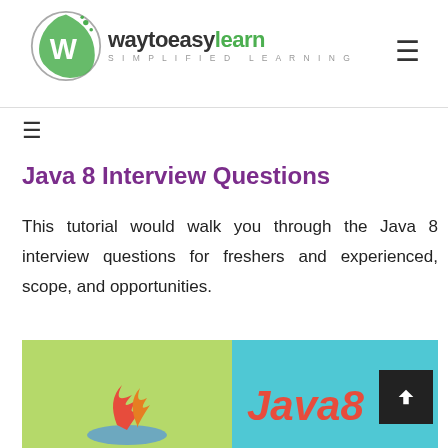[Figure (logo): waytoeasylearn logo with W icon and 'SIMPLIFIED LEARNING' tagline]
Java 8 Interview Questions
This tutorial would walk you through the Java 8 interview questions for freshers and experienced, scope, and opportunities.
[Figure (illustration): Java 8 promotional image with Java flame logo on green background and 'Java8' text on teal background]